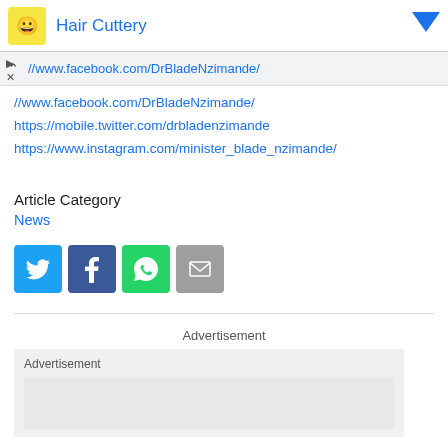[Figure (screenshot): Ad banner with Hair Cuttery logo and title]
//www.facebook.com/DrBladeNzimande/
https://mobile.twitter.com/drbladenzimande
https://www.instagram.com/minister_blade_nzimande/
Article Category
News
[Figure (infographic): Social share buttons: Twitter, Facebook, WhatsApp, Email]
Advertisement
Advertisement